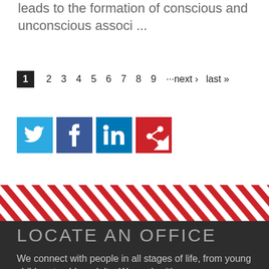leads to the formation of conscious and unconscious associ ...
1 2 3 4 5 6 7 8 9 ···next › last »
[Figure (other): Social sharing icons: Twitter (blue), Facebook (dark blue), LinkedIn (blue), Share (red)]
[Figure (other): Diagonal red and white striped divider band]
LOCATE AN OFFICE
We connect with people in all stages of life, from young children to older adults. We work with